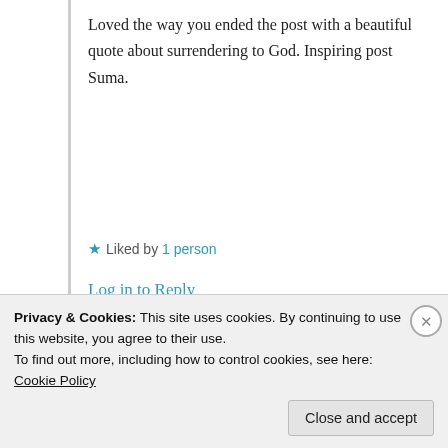Loved the way you ended the post with a beautiful quote about surrendering to God. Inspiring post Suma.
★ Liked by 1 person
Log in to Reply
Suma Reddy
11th Jul 2021 at 11:47 am
Privacy & Cookies: This site uses cookies. By continuing to use this website, you agree to their use.
To find out more, including how to control cookies, see here: Cookie Policy
Close and accept